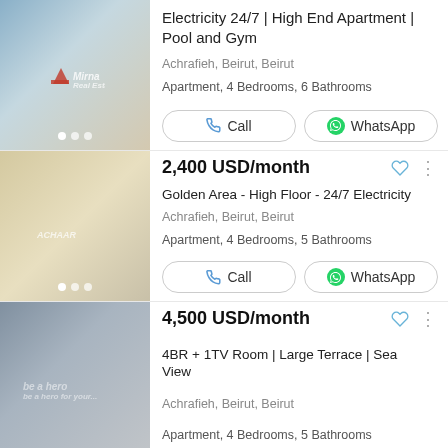[Figure (photo): Apartment interior/exterior photo for listing 1]
Electricity 24/7 | High End Apartment | Pool and Gym
Achrafieh, Beirut, Beirut
Apartment, 4 Bedrooms, 6 Bathrooms
[Figure (photo): Apartment interior photo for listing 2 - open plan living area]
2,400 USD/month
Golden Area - High Floor - 24/7 Electricity
Achrafieh, Beirut, Beirut
Apartment, 4 Bedrooms, 5 Bathrooms
[Figure (photo): Apartment interior photo for listing 3 - living room with terrace]
4,500 USD/month
4BR + 1TV Room | Large Terrace | Sea View
Achrafieh, Beirut, Beirut
Apartment, 4 Bedrooms, 5 Bathrooms